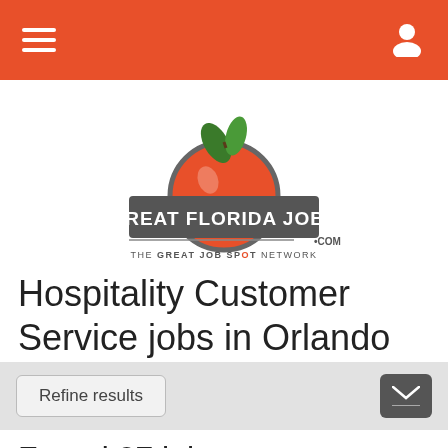Navigation bar with hamburger menu and user icon
[Figure (logo): Great Florida Jobs .com logo with orange graphic and tagline THE GREAT JOB SPOT NETWORK]
Hospitality Customer Service jobs in Orlando
Refine results
Found 27 jobs